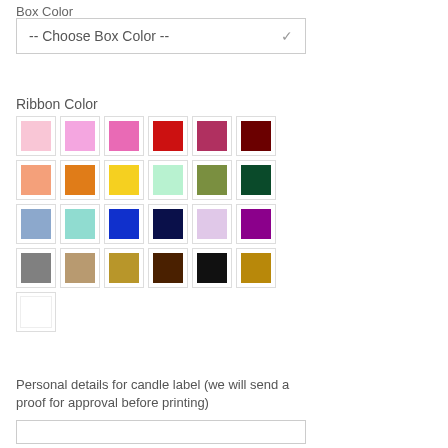Box Color
[Figure (screenshot): Dropdown selector reading '-- Choose Box Color --' with a chevron arrow on the right]
Ribbon Color
[Figure (infographic): Color swatch grid with 5 rows and 6 columns showing ribbon color options: row 1: light pink, pink, hot pink, red, dark pink/rose, dark red; row 2: peach/salmon, orange, yellow, mint, olive green, dark green; row 3: blue-gray, teal/light blue, royal blue, navy, lavender, purple; row 4: gray, tan/beige, dark gold/khaki, dark brown, black, gold; row 5: white]
Personal details for candle label (we will send a proof for approval before printing)